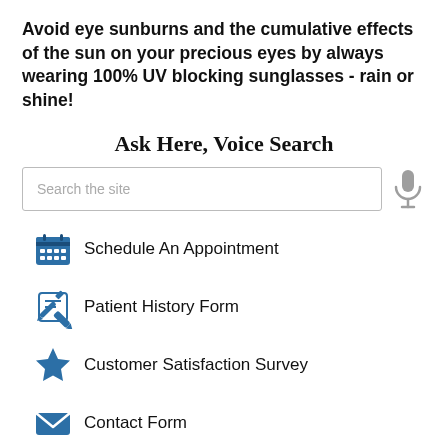Avoid eye sunburns and the cumulative effects of the sun on your precious eyes by always wearing 100% UV blocking sunglasses - rain or shine!
Ask Here, Voice Search
Schedule An Appointment
Patient History Form
Customer Satisfaction Survey
Contact Form